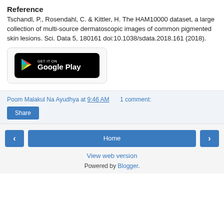Reference
Tschandl, P., Rosendahl, C. & Kittler, H. The HAM10000 dataset, a large collection of multi-source dermatoscopic images of common pigmented skin lesions. Sci. Data 5, 180161 doi:10.1038/sdata.2018.161 (2018).
[Figure (logo): Google Play store badge with Play triangle logo and text 'GET IT ON Google Play' on black background]
Poom Malakul Na Ayudhya at 9:46 AM    1 comment:
Share
Home
View web version
Powered by Blogger.